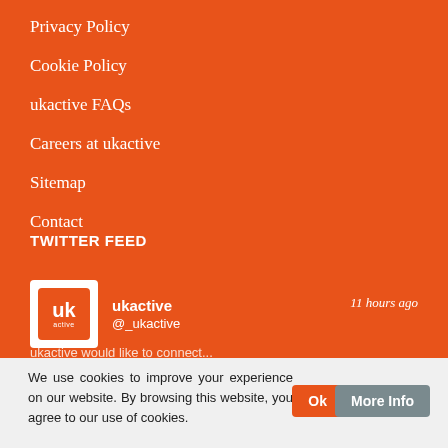Privacy Policy
Cookie Policy
ukactive FAQs
Careers at ukactive
Sitemap
Contact
TWITTER FEED
ukactive @_ukactive 11 hours ago
We use cookies to improve your experience on our website. By browsing this website, you agree to our use of cookies.